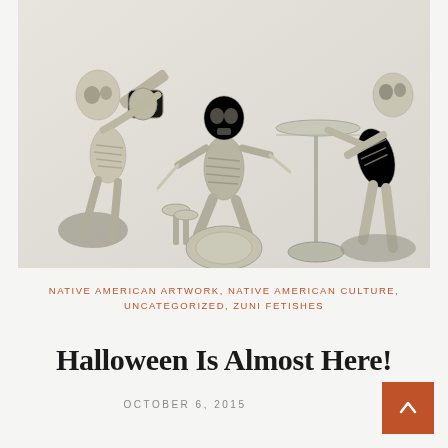[Figure (photo): Three plastic skeleton figurines posed as a band: left skeleton playing guitar, center skeleton playing drums with cymbal, right skeleton leaning forward, on a light fabric background.]
NATIVE AMERICAN ARTWORK, NATIVE AMERICAN CULTURE, UNCATEGORIZED, ZUNI FETISHES
Halloween Is Almost Here!
OCTOBER 6, 2015